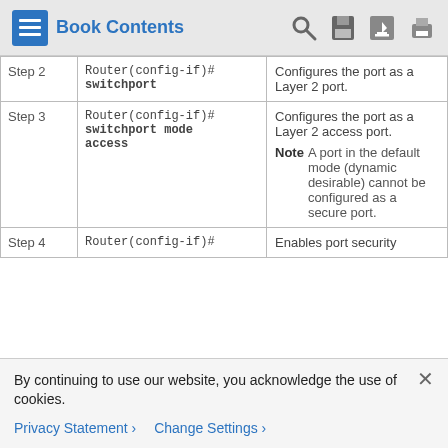Book Contents
|  | Command | Purpose |
| --- | --- | --- |
| Step 2 | Router(config-if)#
switchport | Configures the port as a Layer 2 port. |
| Step 3 | Router(config-if)#
switchport mode access | Configures the port as a Layer 2 access port.
Note A port in the default mode (dynamic desirable) cannot be configured as a secure port. |
| Step 4 | Router(config-if)# | Enables port security |
By continuing to use our website, you acknowledge the use of cookies.
Privacy Statement > Change Settings >